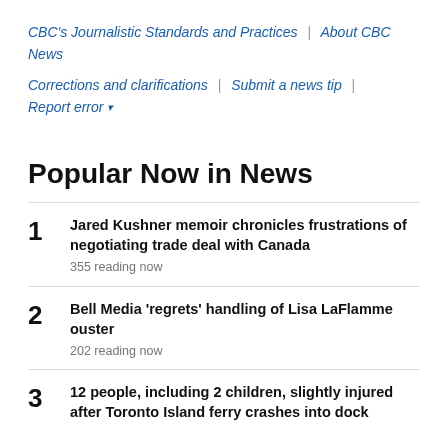CBC's Journalistic Standards and Practices | About CBC News
Corrections and clarifications | Submit a news tip | Report error ▾
Popular Now in News
1. Jared Kushner memoir chronicles frustrations of negotiating trade deal with Canada — 355 reading now
2. Bell Media 'regrets' handling of Lisa LaFlamme ouster — 202 reading now
3. 12 people, including 2 children, slightly injured after Toronto Island ferry crashes into dock